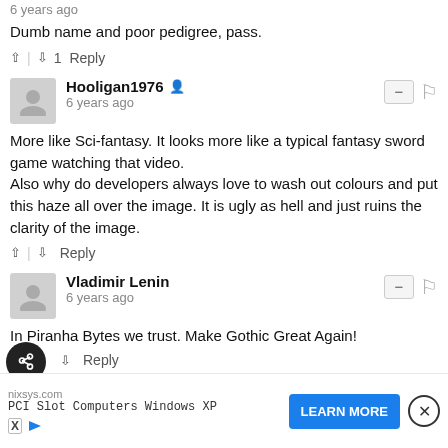6 years ago
Dumb name and poor pedigree, pass.
↑ | ↓ 1  Reply
Hooligan1976 🔒
6 years ago
More like Sci-fantasy. It looks more like a typical fantasy sword game watching that video.
Also why do developers always love to wash out colours and put this haze all over the image. It is ugly as hell and just ruins the clarity of the image.
↑ | ↓  Reply
Vladimir Lenin
6 years ago
In Piranha Bytes we trust. Make Gothic Great Again!
↑ | ↓  Reply
Andrew Richardson 🔒
6 years ago
nixsys.com
PCI Slot Computers Windows XP
LEARN MORE